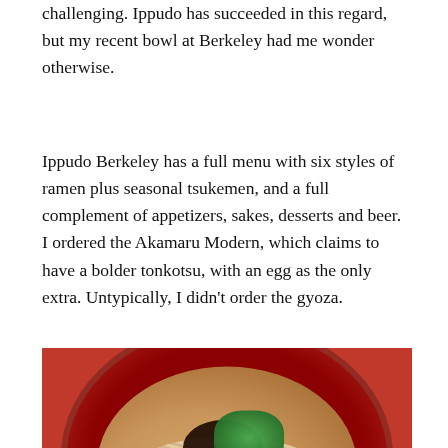challenging. Ippudo has succeeded in this regard, but my recent bowl at Berkeley had me wonder otherwise.
Ippudo Berkeley has a full menu with six styles of ramen plus seasonal tsukemen, and a full complement of appetizers, sakes, desserts and beer. I ordered the Akamaru Modern, which claims to have a bolder tonkotsu, with an egg as the only extra. Untypically, I didn't order the gyoza.
[Figure (photo): Photo of a ramen bowl in a red dish, showing dark fungus toppings, green onions, egg, and noodles in broth, placed on a wooden table surface.]